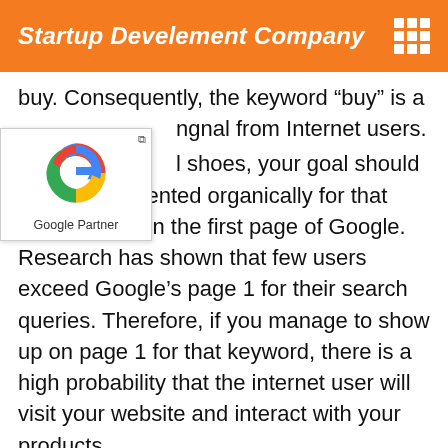Startup Develement Company
buy. Consequently, the keyword “buy” is a signal from Internet users.
[Figure (logo): Google Partner badge with Google G logo and text 'Google Partner']
l shoes, your goal should be to be presented organically for that search term on the first page of Google. Research has shown that few users exceed Google’s page 1 for their search queries. Therefore, if you manage to show up on page 1 for that keyword, there is a high probability that the internet user will visit your website and interact with your products.
Top SEO Company - Ra…